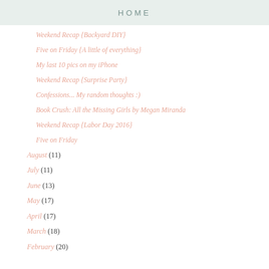HOME
Weekend Recap {Backyard DIY}
Five on Friday {A little of everything}
My last 10 pics on my iPhone
Weekend Recap {Surprise Party}
Confessions... My random thoughts :)
Book Crush: All the Missing Girls by Megan Miranda
Weekend Recap {Labor Day 2016}
Five on Friday
August (11)
July (11)
June (13)
May (17)
April (17)
March (18)
February (20)